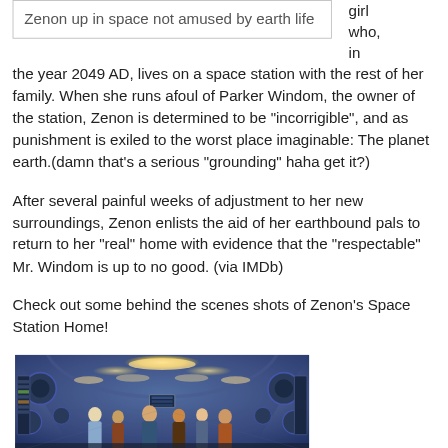| Zenon up in space not amused by earth life |
girl who, in the year 2049 AD, lives on a space station with the rest of her family. When she runs afoul of Parker Windom, the owner of the station, Zenon is determined to be “incorrigible”, and as punishment is exiled to the worst place imaginable: The planet earth.(damn that’s a serious “grounding” haha get it?)
After several painful weeks of adjustment to her new surroundings, Zenon enlists the aid of her earthbound pals to return to her “real” home with evidence that the “respectable” Mr. Windom is up to no good. (via IMDb)
Check out some behind the scenes shots of Zenon’s Space Station Home!
[Figure (photo): Behind the scenes photo of Zenon's Space Station Home interior corridor with people standing inside]